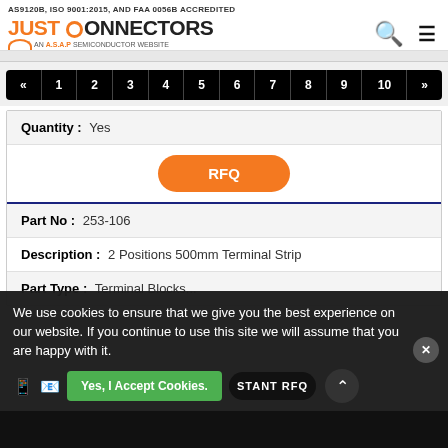AS9120B, ISO 9001:2015, AND FAA 0056B ACCREDITED
[Figure (logo): Just Connectors logo - orange and black text with circular icon, tagline: AN A.S.A.P SEMICONDUCTOR WEBSITE]
« 1 2 3 4 5 6 7 8 9 10 »
| Quantity : | Yes |
|  | RFQ |
| Part No : | 253-106 |
| Description : | 2 Positions 500mm Terminal Strip |
| Part Type : | Terminal Blocks... |
We use cookies to ensure that we give you the best experience on our website. If you continue to use this site we will assume that you are happy with it.
Yes, I Accept Cookies.
STANT RFQ